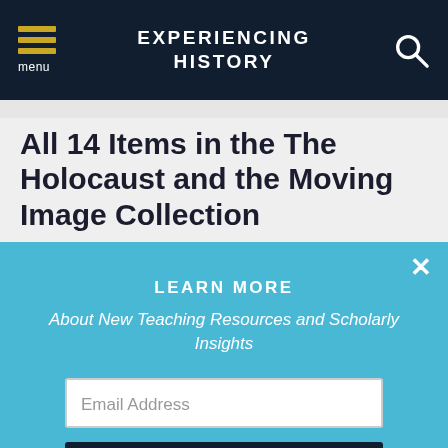EXPERIENCING HISTORY
All 14 Items in the The Holocaust and the Moving Image Collection
LEARN MORE
About New Teaching Resources and Scholarly Insights
Email Address
SUBSCRIBE